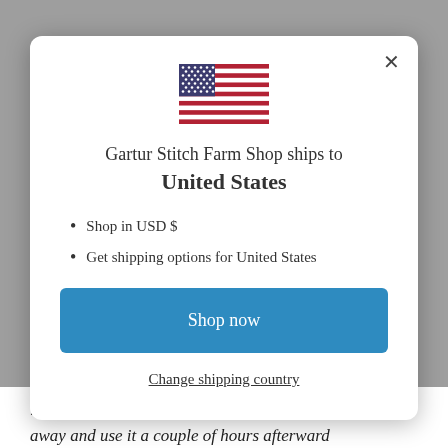[Figure (illustration): US flag emoji/icon centered at top of modal dialog]
Gartur Stitch Farm Shop ships to United States
Shop in USD $
Get shipping options for United States
Shop now
Change shipping country
loaf of bread, or as an alternative, feed it right away and use it a couple of hours afterward